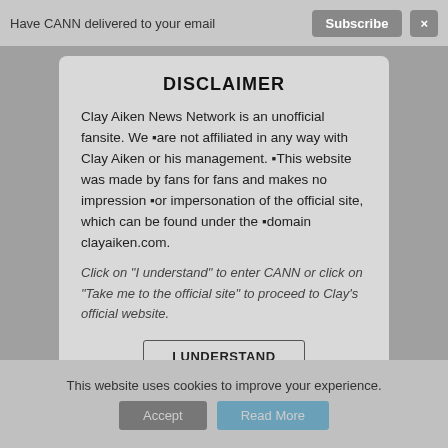Have CANN delivered to your email  Subscribe  ×
[Figure (screenshot): Dimmed background showing Clay Aiken News Network website]
DISCLAIMER
Clay Aiken News Network is an unofficial fansite. We �are not affiliated in any way with Clay Aiken or his management. �This website was made by fans for fans and makes no impression �or impersonation of the official site, which can be found under the �domain clayaiken.com.
Click on "I understand" to enter CANN or click on "Take me to the official site" to proceed to Clay's official website.
I UNDERSTAND
This website uses cookies to improve your experience.
Accept   Read More